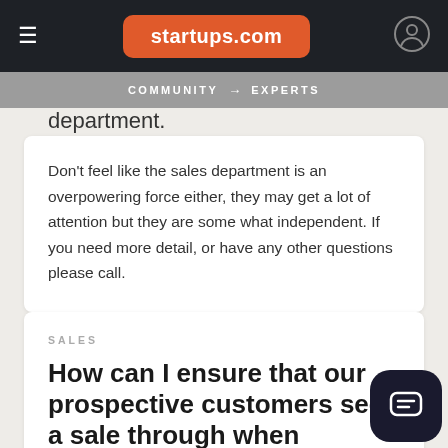startups.com — COMMUNITY → EXPERTS
department.
Don't feel like the sales department is an overpowering force either, they may get a lot of attention but they are some what independent. If you need more detail, or have any other questions please call.
SALES
How can I ensure that our prospective customers see a sale through when working in the hand written direct mail service industry